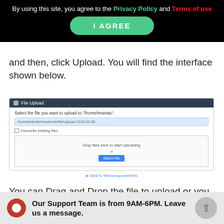By using this site, you agree to the Privacy Policy and Terms of use
I AGREE
and then, click Upload. You will find the interface shown below.
[Figure (screenshot): File Upload dialog screenshot showing a dropzone area with 'Drop files here to start uploading' text, a Select File button, an input showing a file transfer placeholder, and an Overwrite existing files checkbox.]
You can Drag and Drop the file to upload or you can select the file from Select File button. If you want the File Manager to automatically overwrite the files with same name, you can select Overwrite existing files checkb…
Our Support Team is from 9AM-6PM. Leave us a message.